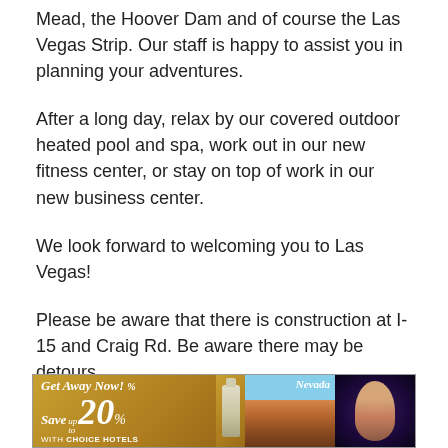Mead, the Hoover Dam and of course the Las Vegas Strip. Our staff is happy to assist you in planning your adventures.
After a long day, relax by our covered outdoor heated pool and spa, work out in our new fitness center, or stay on top of work in our new business center.
We look forward to welcoming you to Las Vegas!
Please be aware that there is construction at I-15 and Craig Rd. Be aware there may be detours.
Details
[Figure (infographic): Advertisement banner for Choice Hotels: 'Get Away Now! Save up to 20% with Choice Hotels' with Nevada desert and party images.]